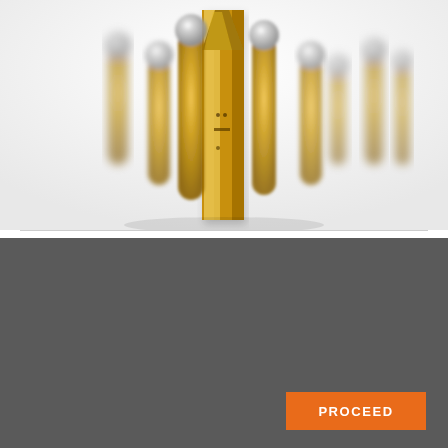[Figure (photo): Product photo showing multiple gold-colored metallic spring contact pins (pogo pins) with silver spherical tips arranged in a group against a white background. The center pin is in sharp focus, closest to camera; others are blurred in the background.]
We and the third parties that provide content, functionality, or business services on our website may use cookies to collect information about your browsing activities in order to provide you with more relevant content and promotional materials, on and off the website, and help us understand your interests and improve the website.
PROCEED